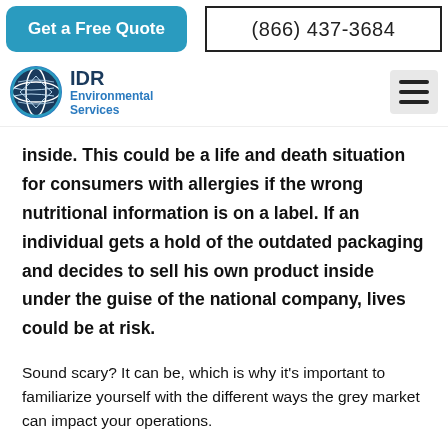Get a Free Quote | (866) 437-3684
[Figure (logo): IDR Environmental Services logo with globe icon]
inside. This could be a life and death situation for consumers with allergies if the wrong nutritional information is on a label. If an individual gets a hold of the outdated packaging and decides to sell his own product inside under the guise of the national company, lives could be at risk.
Sound scary? It can be, which is why it's important to familiarize yourself with the different ways the grey market can impact your operations.